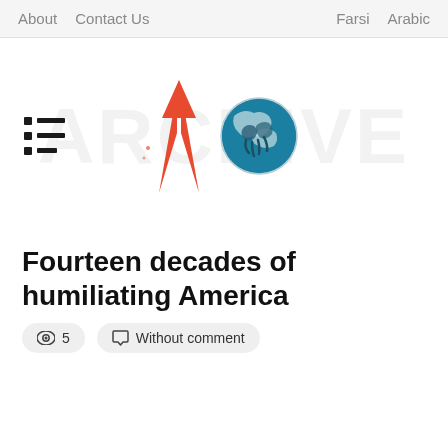About   Contact Us   Farsi   Arabic
[Figure (logo): ARCHIVE website logo: a red/orange triangle 'A' shape on the left, a globe icon in the center, and faint large watermark text 'ARCHIVE' in the background. A hamburger menu icon appears on the far left.]
Fourteen decades of humiliating America
👁 5   Without comment